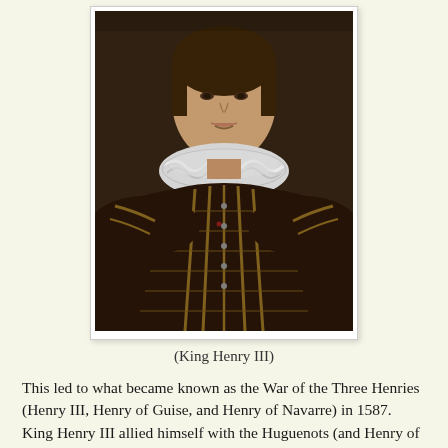[Figure (photo): Portrait painting of King Henry III, a young man wearing a dark ornate doublet with gold embroidery and a white ruffled collar (ruff), shown from the chest up against a dark background.]
(King Henry III)
This led to what became known as the War of the Three Henries (Henry III, Henry of Guise, and Henry of Navarre) in 1587.  King Henry III allied himself with the Huguenots (and Henry of Navarre) against Henry of Guise and the Catholic League who were receiving support from Spain and the Pope.  In December 1588, Henry III had Henry of Guise murdered, but the Catholic League retained control the city